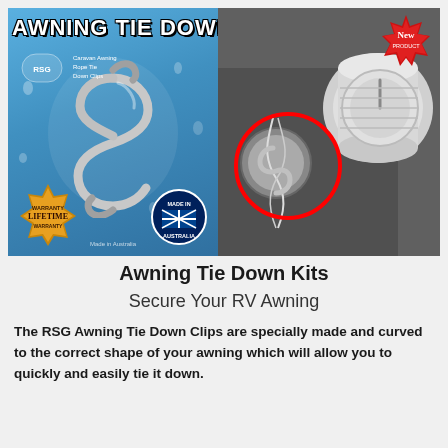[Figure (photo): Product photo showing Awning Tie Down Clips package on the left with blue packaging, S-hook clips visible, Lifetime Warranty badge, and Made in Australia badge. Right side shows a close-up photo of the clip installed on an RV awning mechanism with a red circle highlighting the clip attachment point. 'AWNING TIE DOWN CLIPS' text overlaid on the left photo. A 'New Product' starburst badge in red/gold appears in the top right.]
Awning Tie Down Kits
Secure Your RV Awning
The RSG Awning Tie Down Clips are specially made and curved to the correct shape of your awning which will allow you to quickly and easily tie it down.